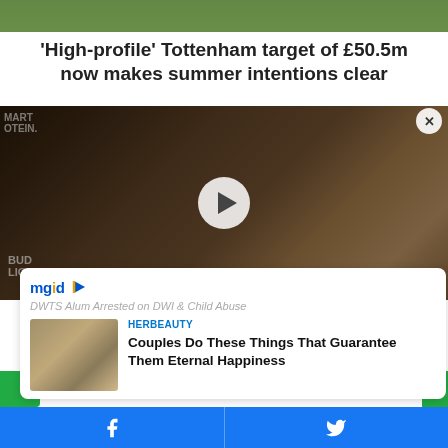[Figure (photo): Cropped top portion of a sports/event photo showing people on a field or event setting]
'High-profile' Tottenham target of £50.5m now makes summer intentions clear
[Figure (photo): Photo of a woman and man posing together at an event with Bud Light and Smart Protein branding in background. A video play button overlay is visible in the center.]
[Figure (screenshot): MGID advertisement overlay card showing: mgid logo with play icon, text 'DWTS Alum Arrested on DWI & Child Abuse', HERBEAUTY source label, headline 'Couples Do These Things That Guarantee Them Eternal Happiness', with thumbnail image]
[Figure (screenshot): Social share bar at bottom with Facebook and Twitter share buttons on blue background]